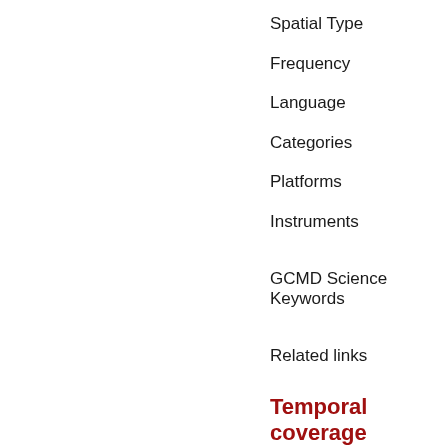Spatial Type
Frequency
Language
Categories
Platforms
Instruments
GCMD Science Keywords
Related links
Temporal coverage
Begin datetime   2004-06-01